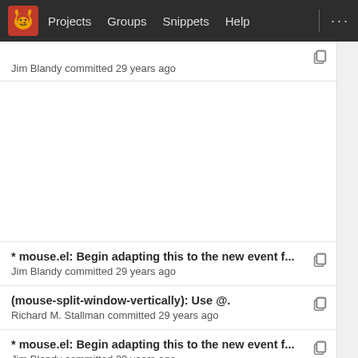Projects   Groups   Snippets   Help
(partial/cut-off title) Jim Blandy committed 29 years ago
* mouse.el: Begin adapting this to the new event f... Jim Blandy committed 29 years ago
(mouse-split-window-vertically): Use @. Richard M. Stallman committed 29 years ago
* mouse.el: Begin adapting this to the new event f... Jim Blandy committed 29 years ago
*** empty log message *** Jim Blandy committed 30 years ago
Initial revision Richard M. Stallman committed 32 years ago